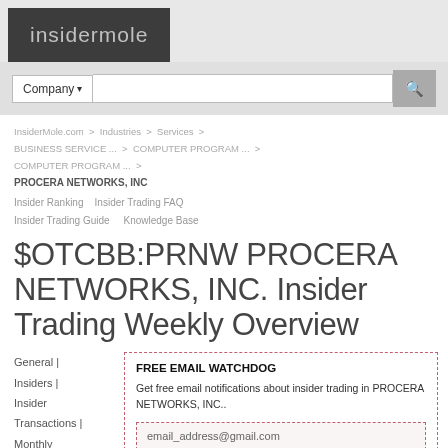insidermole
Company ▾ [search bar] 🔍
InsiderMole.com > Industries > Services > BUSINESS SERVICE ... > COMPUTER PROGRAM ... > COMPUTER PROGRAM ... > PROCERA NETWORKS, INC
Insider Ranking  Insider Trading FAQ  Insider Trading Guide  Knowledge Base
$OTCBB:PRNW PROCERA NETWORKS, INC. Insider Trading Weekly Overview
General | Insiders | Insider Transactions | Monthly Overview | Weekly Overview
FREE EMAIL WATCHDOG

Get free email notifications about insider trading in PROCERA NETWORKS, INC..

email_address@gmail.com